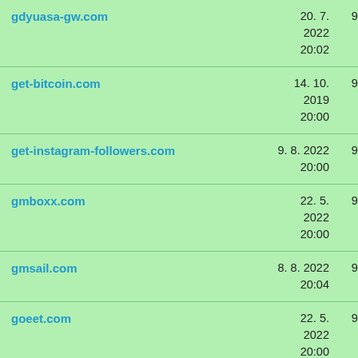| Domain | Date | Price |
| --- | --- | --- |
| gdyuasa-gw.com | 20. 7. 2022 20:02 | 999,00 Kč |
| get-bitcoin.com | 14. 10. 2019 20:00 | 999,00 Kč |
| get-instagram-followers.com | 9. 8. 2022 20:00 | 999,00 Kč |
| gmboxx.com | 22. 5. 2022 20:00 | 999,00 Kč |
| gmsail.com | 8. 8. 2022 20:04 | 999,00 Kč |
| goeet.com | 22. 5. 2022 20:00 | 999,00 Kč |
| gogostream.net | 24. 5. 2021 20:04 | 999,00 Kč |